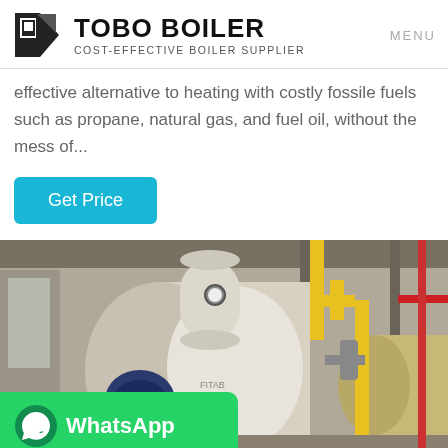TOBO BOILER — COST-EFFECTIVE BOILER SUPPLIER | MENU
effective alternative to heating with costly fossile fuels such as propane, natural gas, and fuel oil, without the mess of...
Get Price
[Figure (photo): Industrial boiler room with multiple large cylindrical boilers, yellow gas pipes, and associated equipment in an industrial facility.]
WhatsApp